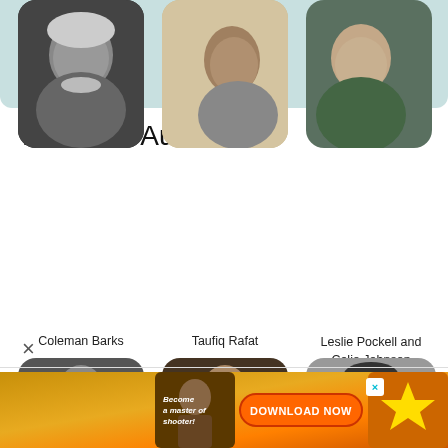[Figure (illustration): Light teal/sage colored banner at top of page, rounded bottom corners]
Featured Authors
[Figure (photo): Black and white photo of Coleman Barks, older man with long white hair and beard, smiling]
Coleman Barks
[Figure (photo): Sepia/vintage photo of Taufiq Rafat, man in profile view with mustache]
Taufiq Rafat
[Figure (photo): Color photo of Leslie Pockell and Celia Johnson, older man with glasses resting chin on hand]
Leslie Pockell and Celia Johnson
[Figure (photo): Black and white photo of older man with glasses]
[Figure (photo): Color photo of older man gesturing with finger, wearing blazer]
[Figure (photo): Black and white photo of woman with dark hair]
[Figure (screenshot): Advertisement banner at bottom: golden/orange background with text 'Become a master of shooter!' on left, large orange DOWNLOAD NOW button in center, game imagery on right, close X button]